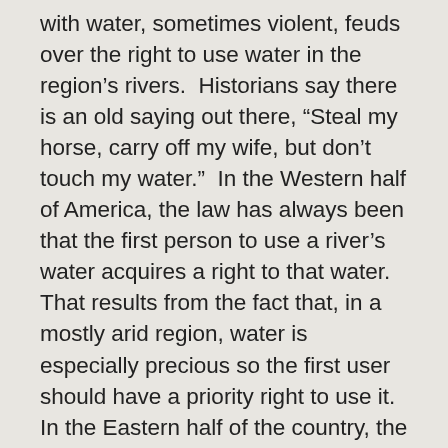with water, sometimes violent, feuds over the right to use water in the region's rivers. Historians say there is an old saying out there, “Steal my horse, carry off my wife, but don’t touch my water.” In the Western half of America, the law has always been that the first person to use a river’s water acquires a right to that water. That results from the fact that, in a mostly arid region, water is especially precious so the first user should have a priority right to use it. In the Eastern half of the country, the law is that the person who lives on the bank of the river owns the water that flows past; since water is more abundant, there is considerably less controversy over the right to it.
The case before the Supreme Court involves a dispute between Texas and New Mexico that has been before the Court, in one form or another, for 46 years. It is a kind of lawsuit that, under the Constitution, is